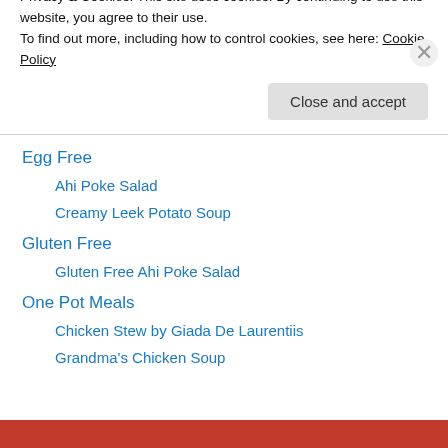Ahi Poke Salad
Curried Pumpkin Soup
Gluten Free Garlic Ginger Popcorn
Dairy Free
Ahi Poke Salad
Egg Free
Ahi Poke Salad
Creamy Leek Potato Soup
Gluten Free
Gluten Free Ahi Poke Salad
One Pot Meals
Chicken Stew by Giada De Laurentiis
Grandma's Chicken Soup
Privacy & Cookies: This site uses cookies. By continuing to use this website, you agree to their use.
To find out more, including how to control cookies, see here: Cookie Policy